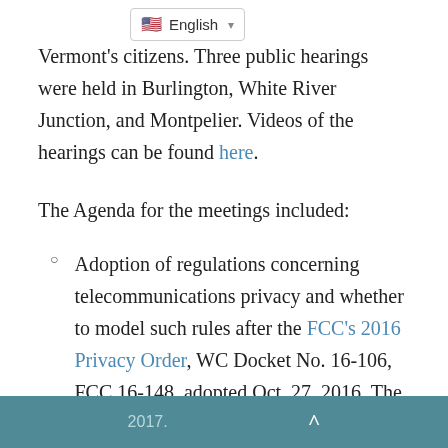Vermont's citizens. Three public hearings were held in Burlington, White River Junction, and Montpelier. Videos of the hearings can be found here.
The Agenda for the meetings included:
Adoption of regulations concerning telecommunications privacy and whether to model such rules after the FCC's 2016 Privacy Order, WC Docket No. 16-106, FCC 16-148, adopted Oct. 27, 2016. The request for this recommendation was made in Act 66 of 2017.
2017